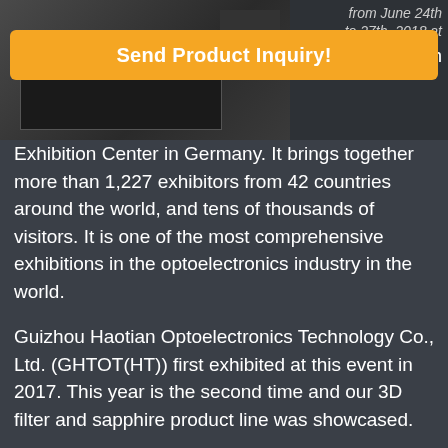[Figure (photo): Photo of exhibition booth display, partially visible at top of page]
Send Product Inquiry!
to 27th, 2018 at the Munich Exhibition Center in Germany. It brings together more than 1,227 exhibitors from 42 countries around the world, and tens of thousands of visitors. It is one of the most comprehensive exhibitions in the optoelectronics industry in the world.
Guizhou Haotian Optoelectronics Technology Co., Ltd. (GHTOT(HT)) first exhibited at this event in 2017. This year is the second time and our 3D filter and sapphire product line was showcased.
The HT booth welcomed professionals from all over the world to discuss the applications of Haotian 3D filter products. Also we emphasized that HT sapphire is characterized by large size and quality. The event was also an opportunity for our team to